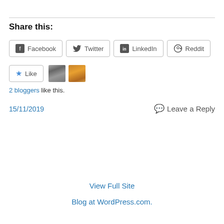Share this:
Facebook  Twitter  LinkedIn  Reddit
[Figure (other): Like button with star icon, followed by two blogger avatar thumbnails (black-and-white portrait and golden/sunset image)]
2 bloggers like this.
15/11/2019
Leave a Reply
View Full Site
Blog at WordPress.com.